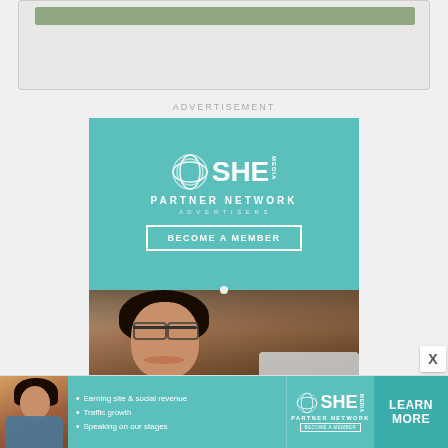[Figure (other): Gray placeholder card with green bar at top]
ADVERTISEMENT
[Figure (illustration): SHE Media Partner Network advertisement. Teal background with circular knot logo, text PARTNER NETWORK, BECOME A MEMBER button, and photo of smiling woman with glasses working on laptop.]
[Figure (illustration): Bottom banner ad for SHE Media Partner Network showing woman, bullet points: Earning site & social revenue, Traffic growth, Speaking on our stages, SHE logo, LEARN MORE button.]